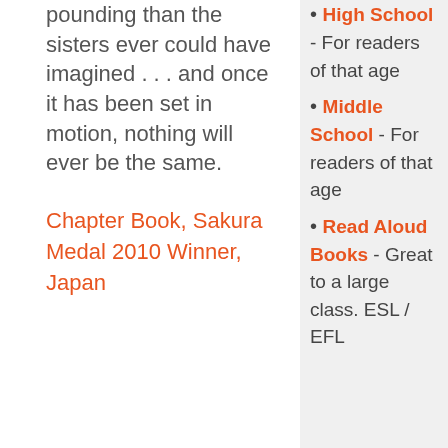pounding than the sisters ever could have imagined . . . and once it has been set in motion, nothing will ever be the same.
Chapter Book, Sakura Medal 2010 Winner, Japan
High School - For readers of that age
Middle School - For readers of that age
Read Aloud Books - Great to a large class. ESL / EFL